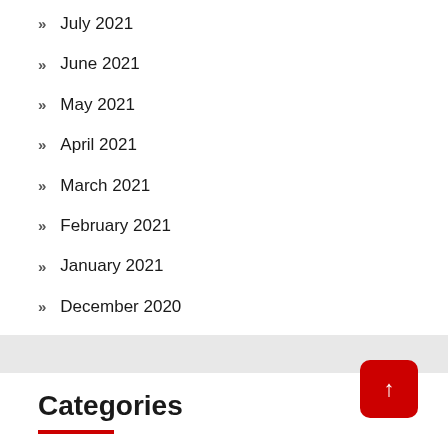July 2021
June 2021
May 2021
April 2021
March 2021
February 2021
January 2021
December 2020
Categories
betting